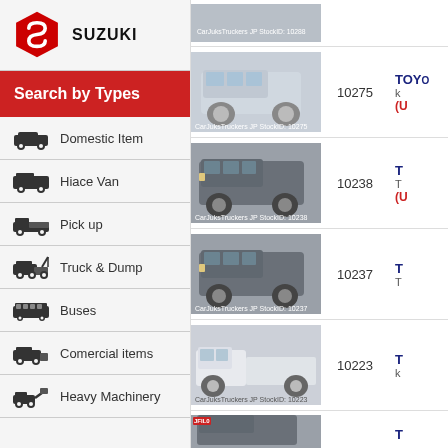[Figure (logo): Suzuki logo (red diamond star) with text SUZUKI]
Search by Types
Domestic Item
Hiace Van
Pick up
Truck & Dump
Buses
Comercial items
Heavy Machinery
| Image | Stock ID | Details |
| --- | --- | --- |
| [car image] |  | TOY... |
| [van image - silver] | 10275 | TOY... (U... |
| [van image - dark] | 10238 | T... T... (U... |
| [van image - dark] | 10237 | T... T... |
| [truck image - white] | 10223 | T... k... |
| [van image partial] |  | T... |